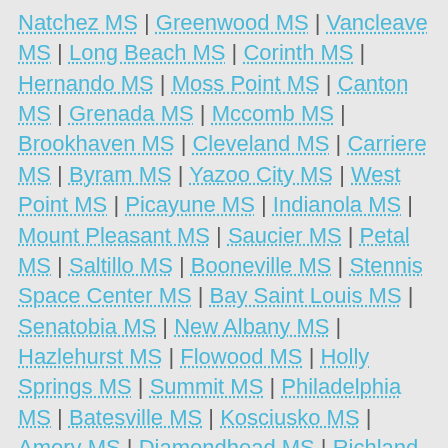Natchez MS | Greenwood MS | Vancleave MS | Long Beach MS | Corinth MS | Hernando MS | Moss Point MS | Canton MS | Grenada MS | Mccomb MS | Brookhaven MS | Cleveland MS | Carriere MS | Byram MS | Yazoo City MS | West Point MS | Picayune MS | Indianola MS | Mount Pleasant MS | Saucier MS | Petal MS | Saltillo MS | Booneville MS | Stennis Space Center MS | Bay Saint Louis MS | Senatobia MS | New Albany MS | Hazlehurst MS | Flowood MS | Holly Springs MS | Summit MS | Philadelphia MS | Batesville MS | Kosciusko MS | Amory MS | Diamondhead MS | Richland MS | Louisville MS | Columbia MS | Waveland MS | Diberville MS | Nesbit MS | Perkinston MS | Forest MS | Pontotoc MS | Aberdeen MS | Ripley MS | Carthage MS | Crystal Springs MS | Winona MS | Waynesboro MS | Collinsville MS | Bogue Chitto MS | Foxworth MS |